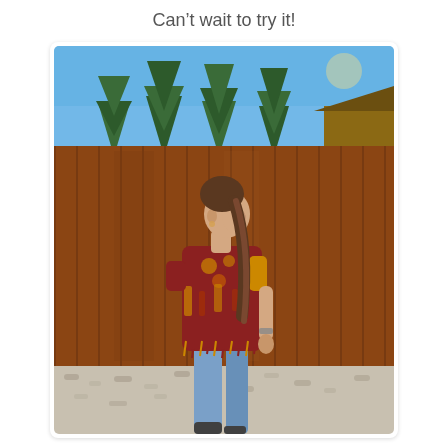Can't wait to try it!
[Figure (photo): A woman wearing a colorful patterned top (bohemian/ethnic print with warm tones of maroon, mustard yellow, and brown) and blue jeans, standing in profile view in front of a tall wooden fence. Trees and blue sky are visible in the background. The woman has her hair in a ponytail and appears to be outdoors on a sunny day. Gravel ground is visible at the bottom.]